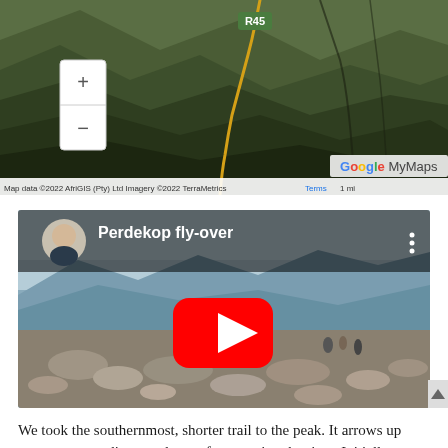[Figure (map): Google My Maps satellite aerial view showing mountainous terrain with a winding yellow route marked, road label R45 visible in green, zoom controls (+/-) on the left, Google My Maps branding, and map data attribution bar reading 'Map data ©2022 AfriGIS (Pty) Ltd Imagery ©2022 TerraMetrics  Terms  1 mi']
[Figure (screenshot): YouTube video thumbnail for 'Perdekop fly-over' showing a rocky mountain ridge with hikers, blue sky, distant mountains. Video player interface with circular profile photo of a man, video title 'Perdekop fly-over', three-dot menu icon, and large red YouTube play button in the center.]
We took the southernmost, shorter trail to the peak. It arrows up some steep gradients early on after crossing the river. Initially we